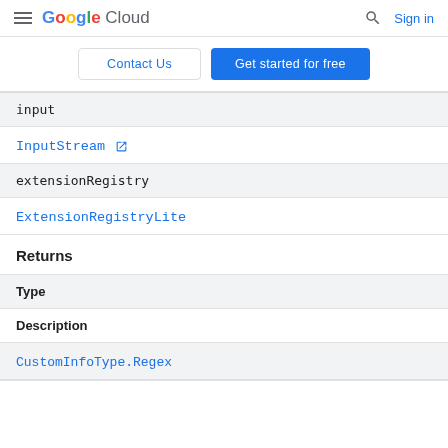Google Cloud — Sign in
Contact Us | Get started for free
input
InputStream
extensionRegistry
ExtensionRegistryLite
Returns
| Type | Description |
| --- | --- |
| CustomInfoType.Regex |  |
CustomInfoType.Regex